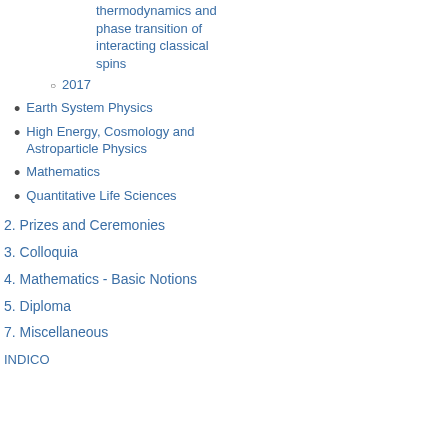thermodynamics and phase transition of interacting classical spins
2017
Earth System Physics
High Energy, Cosmology and Astroparticle Physics
Mathematics
Quantitative Life Sciences
2. Prizes and Ceremonies
3. Colloquia
4. Mathematics - Basic Notions
5. Diploma
7. Miscellaneous
INDICO